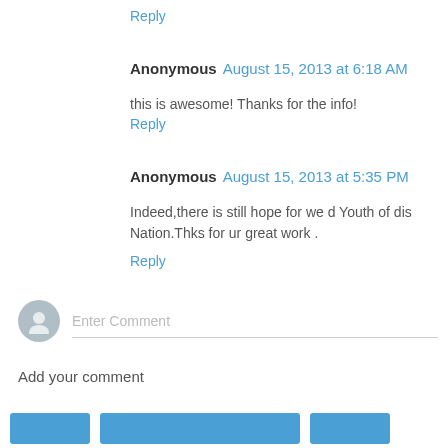Reply
Anonymous  August 15, 2013 at 6:18 AM
this is awesome! Thanks for the info!
Reply
Anonymous  August 15, 2013 at 5:35 PM
Indeed,there is still hope for we d Youth of dis Nation.Thks for ur great work .
Reply
Enter Comment
Add your comment